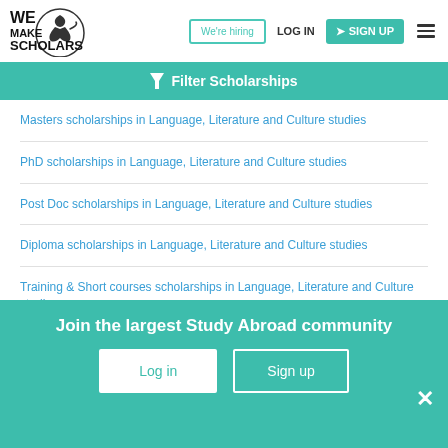We Make Scholars — We're hiring | LOG IN | SIGN UP
Filter Scholarships
Masters scholarships in Language, Literature and Culture studies
PhD scholarships in Language, Literature and Culture studies
Post Doc scholarships in Language, Literature and Culture studies
Diploma scholarships in Language, Literature and Culture studies
Training & Short courses scholarships in Language, Literature and Culture studies
Join the largest Study Abroad community
Log in | Sign up